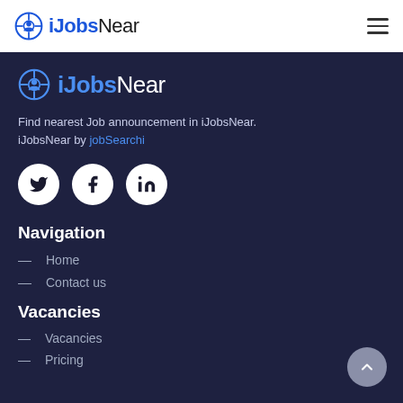iJobsNear
[Figure (logo): iJobsNear logo with target/person icon, bold blue iJobs and dark Near text, repeated in footer area]
Find nearest Job announcement in iJobsNear. iJobsNear by jobSearchi
[Figure (illustration): Social media icons row: Twitter, Facebook, LinkedIn in white circles on dark background]
Navigation
Home
Contact us
Vacancies
Vacancies
Pricing